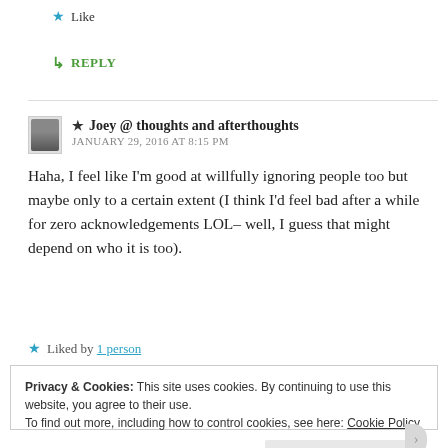★ Like
↳ REPLY
★ Joey @ thoughts and afterthoughts
JANUARY 29, 2016 AT 8:15 PM
Haha, I feel like I'm good at willfully ignoring people too but maybe only to a certain extent (I think I'd feel bad after a while for zero acknowledgements LOL– well, I guess that might depend on who it is too).
★ Liked by 1 person
Privacy & Cookies: This site uses cookies. By continuing to use this website, you agree to their use.
To find out more, including how to control cookies, see here: Cookie Policy
Close and accept